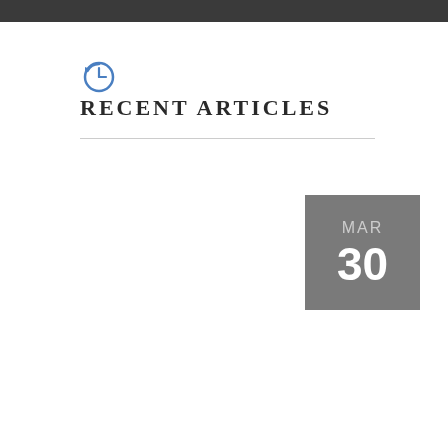[Figure (illustration): Blue history/clock icon — circular arrow with a clock face]
RECENT ARTICLES
[Figure (other): Date badge showing MAR 30 on a grey square background]